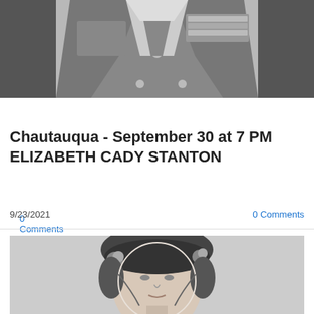[Figure (photo): Black and white photograph cropped to show torso/chest area of a person in a formal jacket with medals or pins on the chest]
0 Comments
Chautauqua - September 30 at 7 PM
ELIZABETH CADY STANTON
9/23/2021
0 Comments
[Figure (photo): Black and white portrait photograph of a woman wearing a decorative bonnet with flowers, facing slightly to the side]